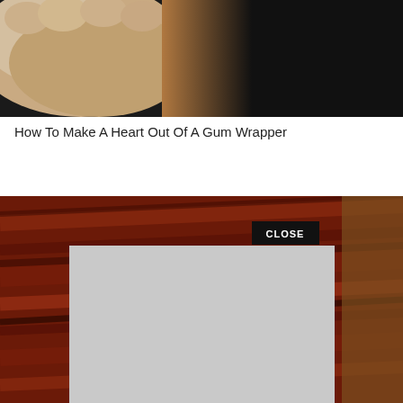[Figure (photo): Top portion of a photo showing hands (pale skin) against a dark/black background, appears to be a tutorial image about folding a gum wrapper]
How To Make A Heart Out Of A Gum Wrapper
[Figure (screenshot): A screenshot showing a reddish-brown wood grain background with a CLOSE button (black rectangle, white text) in upper right area, and a large light gray overlay rectangle covering the center-left portion, suggesting an ad or popup overlay on a webpage]